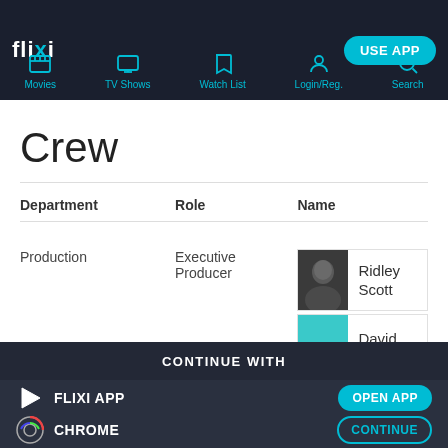flixi — USE APP — Movies, TV Shows, Watch List, Login/Reg., Search
Crew
| Department | Role | Name |
| --- | --- | --- |
| Production | Executive Producer | Ridley Scott |
|  |  | David |
CONTINUE WITH
FLIXI APP — OPEN APP
CHROME — CONTINUE